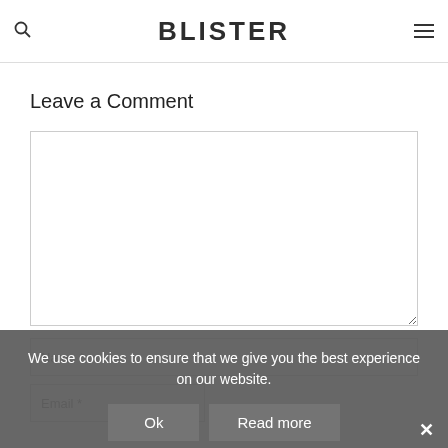BLISTER
Leave a Comment
We use cookies to ensure that we give you the best experience on our website.